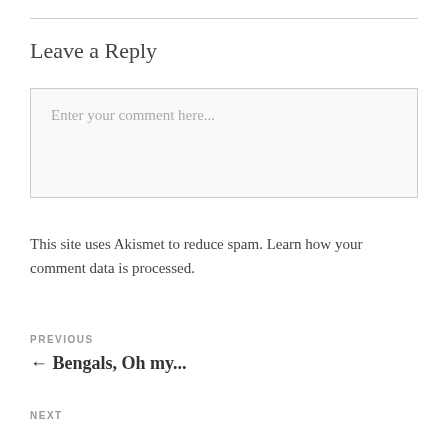Leave a Reply
[Figure (other): Comment text input box with placeholder text 'Enter your comment here...']
This site uses Akismet to reduce spam. Learn how your comment data is processed.
PREVIOUS
← Bengals, Oh my...
NEXT